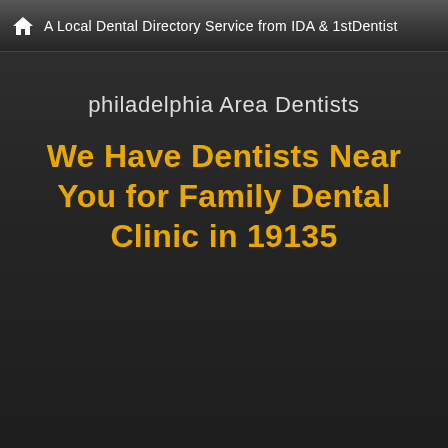A Local Dental Directory Service from IDA & 1stDentist
philadelphia Area Dentists
We Have Dentists Near You for Family Dental Clinic in 19135